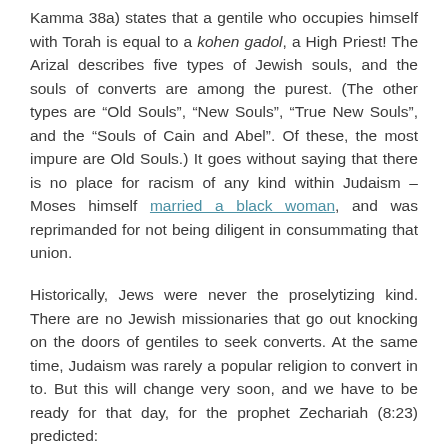Kamma 38a) states that a gentile who occupies himself with Torah is equal to a kohen gadol, a High Priest! The Arizal describes five types of Jewish souls, and the souls of converts are among the purest. (The other types are “Old Souls”, “New Souls”, “True New Souls”, and the “Souls of Cain and Abel”. Of these, the most impure are Old Souls.) It goes without saying that there is no place for racism of any kind within Judaism – Moses himself married a black woman, and was reprimanded for not being diligent in consummating that union.
Historically, Jews were never the proselytizing kind. There are no Jewish missionaries that go out knocking on the doors of gentiles to seek converts. At the same time, Judaism was rarely a popular religion to convert in to. But this will change very soon, and we have to be ready for that day, for the prophet Zechariah (8:23) predicted: